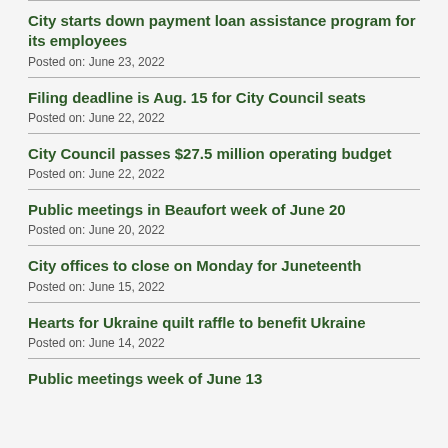City starts down payment loan assistance program for its employees
Posted on: June 23, 2022
Filing deadline is Aug. 15 for City Council seats
Posted on: June 22, 2022
City Council passes $27.5 million operating budget
Posted on: June 22, 2022
Public meetings in Beaufort week of June 20
Posted on: June 20, 2022
City offices to close on Monday for Juneteenth
Posted on: June 15, 2022
Hearts for Ukraine quilt raffle to benefit Ukraine
Posted on: June 14, 2022
Public meetings week of June 13